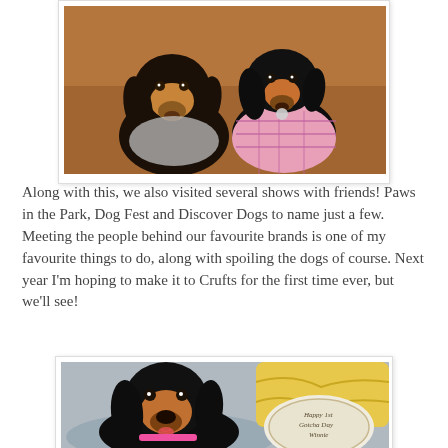[Figure (photo): Two dachshund dogs sitting together on a brown leather sofa. The left dog has long black and tan fur without a coat. The right dog is wearing a pink plaid jacket/harness.]
Along with this, we also visited several shows with friends! Paws in the Park, Dog Fest and Discover Dogs to name just a few. Meeting the people behind our favourite brands is one of my favourite things to do, along with spoiling the dogs of course. Next year I'm hoping to make it to Crufts for the first time ever, but we'll see!
[Figure (photo): A black and tan dachshund dog sitting on a grey dog bed next to a yellow blanket and a round embroidered cushion/item that reads 'Happy 1st Gotcha Day Winnie'.]